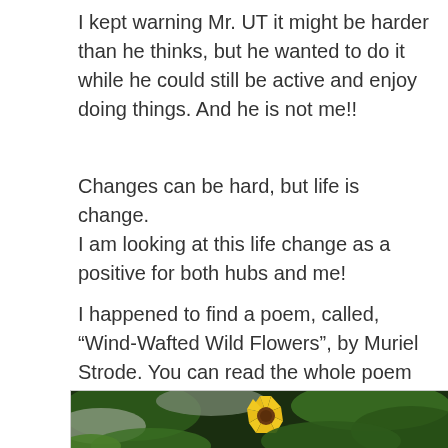I kept warning Mr. UT it might be harder than he thinks, but he wanted to do it while he could still be active and enjoy doing things. And he is not me!!
Changes can be hard, but life is change.
I am looking at this life change as a positive for both hubs and me!
I happened to find a poem, called, “Wind-Wafted Wild Flowers”, by Muriel Strode. You can read the whole poem here.
[Figure (photo): A yellow sunflower-like bloom surrounded by green and white/grey leaves, viewed from above against a dark background.]